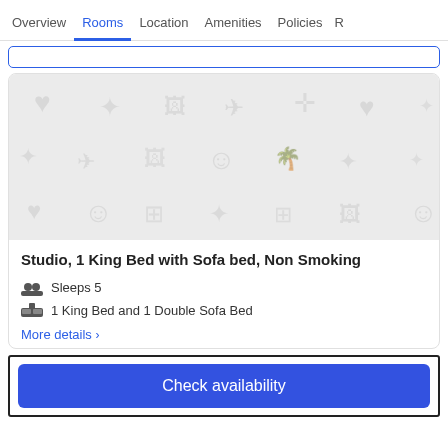Overview | Rooms | Location | Amenities | Policies | R
[Figure (screenshot): Gray placeholder image with faint travel/hospitality icons (hearts, stars, airplanes, smiley faces, photo icons) in a repeating pattern on light gray background]
Studio, 1 King Bed with Sofa bed, Non Smoking
Sleeps 5
1 King Bed and 1 Double Sofa Bed
More details >
Check availability